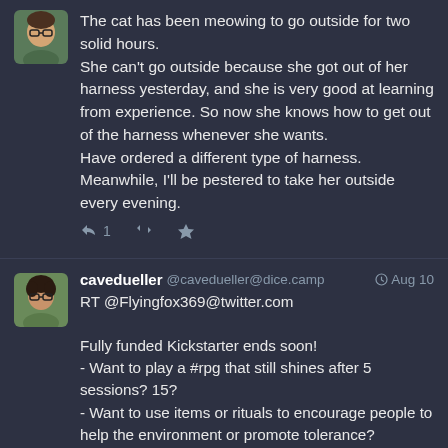[Figure (illustration): Avatar of a person with glasses and short hair]
The cat has been meowing to go outside for two solid hours. She can't go outside because she got out of her harness yesterday, and she is very good at learning from experience. So now she knows how to get out of the harness whenever she wants. Have ordered a different type of harness. Meanwhile, I'll be pestered to take her outside every evening.
[Figure (illustration): Avatar of cavedueller with glasses and dark hair]
cavedueller @cavedueller@dice.camp Aug 10
RT @Flyingfox369@twitter.com

Fully funded Kickstarter ends soon!
- Want to play a #rpg that still shines after 5 sessions? 15?
- Want to use items or rituals to encourage people to help the environment or promote tolerance?
- Wrestle with Wereboars, Haggle with Harpy, Warble with Wraiths